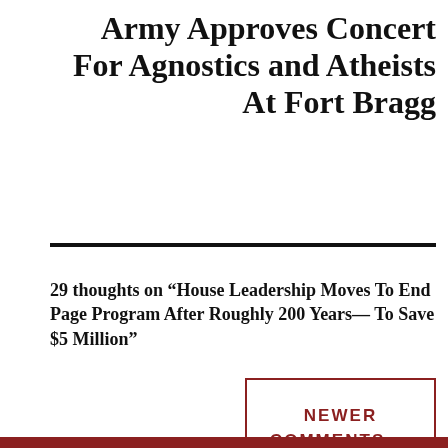Army Approves Concert For Agnostics and Atheists At Fort Bragg
29 thoughts on “House Leadership Moves To End Page Program After Roughly 200 Years— To Save $5 Million”
NEWER COMMENTS →